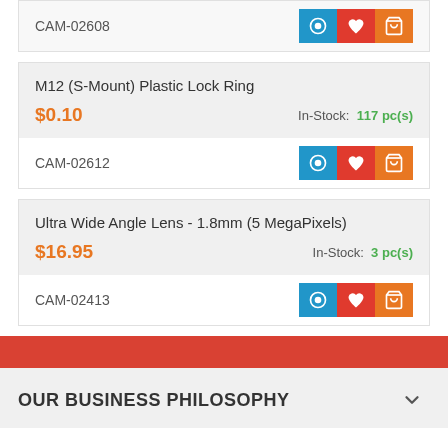CAM-02608
M12 (S-Mount) Plastic Lock Ring
$0.10
In-Stock: 117 pc(s)
CAM-02612
Ultra Wide Angle Lens - 1.8mm (5 MegaPixels)
$16.95
In-Stock: 3 pc(s)
CAM-02413
OUR BUSINESS PHILOSOPHY